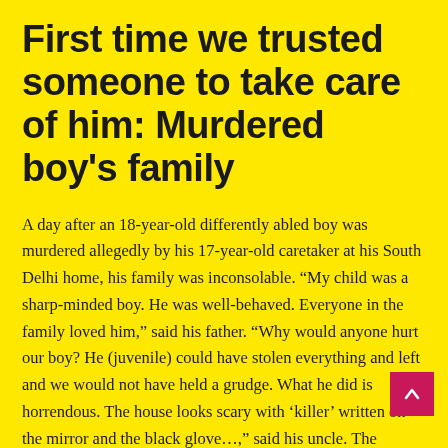First time we trusted someone to take care of him: Murdered boy's family
A day after an 18-year-old differently abled boy was murdered allegedly by his 17-year-old caretaker at his South Delhi home, his family was inconsolable. “My child was a sharp-minded boy. He was well-behaved. Everyone in the family loved him,” said his father. “Why would anyone hurt our boy? He (juvenile) could have stolen everything and left and we would not have held a grudge. What he did is horrendous. The house looks scary with ‘killer’ written on the mirror and the black glove…,” said his uncle. The victim’s father and uncle own a duplex and run jewellery stores in Delhi and Mumbai. On Wednesday, the